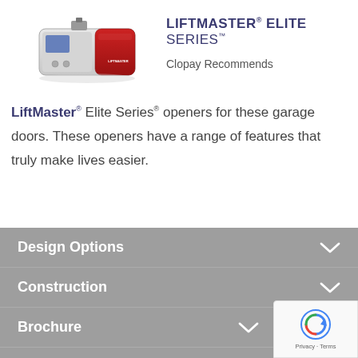[Figure (photo): LiftMaster Elite Series garage door opener unit, white and red, shown from front-right angle]
LIFTMASTER® ELITE SERIES™
Clopay Recommends
LiftMaster® Elite Series® openers for these garage doors. These openers have a range of features that truly make lives easier.
Design Options
Construction
Brochure
Installation & Care